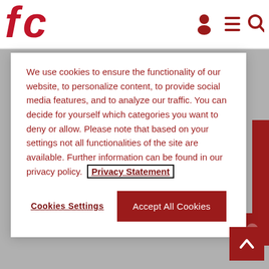[Figure (logo): Red stylized 'fc' logo in top left corner]
[Figure (infographic): Navigation bar with person icon, hamburger menu icon, and search icon]
We use cookies to ensure the functionality of our website, to personalize content, to provide social media features, and to analyze our traffic. You can decide for yourself which categories you want to deny or allow. Please note that based on your settings not all functionalities of the site are available. Further information can be found in our privacy policy. Privacy Statement
Cookies Settings
Accept All Cookies
[Figure (photo): Gray placeholder image in lower right area of page]
[Figure (infographic): Red back-to-top button with upward chevron arrow in bottom right corner]